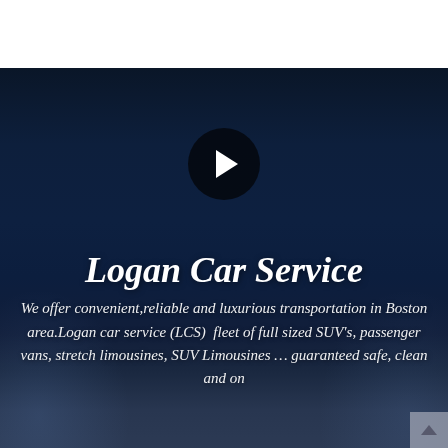[Figure (screenshot): Dark navy blue background with city/bridge lights bokeh effect. A circular black play button with white triangle is centered in the upper portion. Below it is large italic bold white text reading 'Logan Car Service' followed by smaller italic white descriptive text. A small scroll-up button appears at the bottom right.]
Logan Car Service
We offer convenient,reliable and luxurious transportation in Boston area.Logan car service (LCS)  fleet of full sized SUV's, passenger vans, stretch limousines, SUV Limousines … guaranteed safe, clean and on